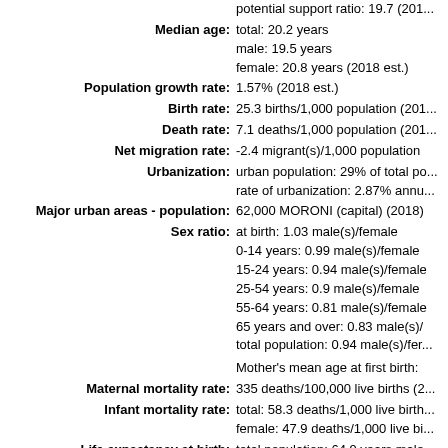potential support ratio: 19.7 (201...
Median age: total: 20.2 years male: 19.5 years female: 20.8 years (2018 est.)
Population growth rate: 1.57% (2018 est.)
Birth rate: 25.3 births/1,000 population (201...
Death rate: 7.1 deaths/1,000 population (201...
Net migration rate: -2.4 migrant(s)/1,000 population
Urbanization: urban population: 29% of total po... rate of urbanization: 2.87% annu...
Major urban areas - population: 62,000 MORONI (capital) (2018)
Sex ratio: at birth: 1.03 male(s)/female 0-14 years: 0.99 male(s)/female 15-24 years: 0.94 male(s)/female 25-54 years: 0.9 male(s)/female 55-64 years: 0.81 male(s)/female 65 years and over: 0.83 male(s)/ total population: 0.94 male(s)/fer...
Mother's mean age at first birth:
Maternal mortality rate: 335 deaths/100,000 live births (2...
Infant mortality rate: total: 58.3 deaths/1,000 live birth... female: 47.9 deaths/1,000 live bi...
Life expectancy at birth: total population: 64.9 years male... female: 67.4 years (2018 est.)
Total fertility rate: 3.21 children born/woman (2018...
Contraceptive prevalence rate: 19.4% (2012)